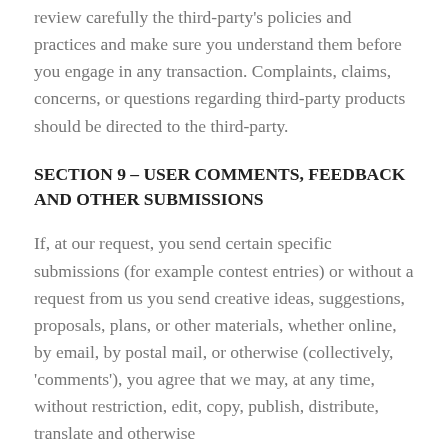review carefully the third-party's policies and practices and make sure you understand them before you engage in any transaction. Complaints, claims, concerns, or questions regarding third-party products should be directed to the third-party.
SECTION 9 – USER COMMENTS, FEEDBACK AND OTHER SUBMISSIONS
If, at our request, you send certain specific submissions (for example contest entries) or without a request from us you send creative ideas, suggestions, proposals, plans, or other materials, whether online, by email, by postal mail, or otherwise (collectively, 'comments'), you agree that we may, at any time, without restriction, edit, copy, publish, distribute, translate and otherwise